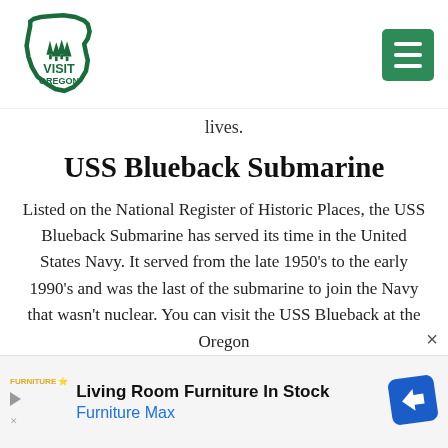[Figure (logo): Visit Oregon logo — Oregon state outline with pine trees silhouette, green border, text VISIT OREGON]
lives.
USS Blueback Submarine
Listed on the National Register of Historic Places, the USS Blueback Submarine has served its time in the United States Navy. It served from the late 1950's to the early 1990's and was the last of the submarine to join the Navy that wasn't nuclear. You can visit the USS Blueback at the Oregon
Living Room Furniture In Stock
Furniture Max